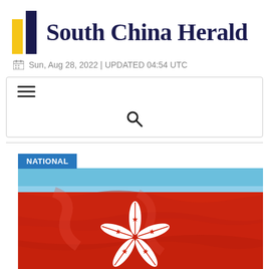South China Herald
Sun, Aug 28, 2022 | UPDATED 04:54 UTC
[Figure (screenshot): Navigation bar with hamburger menu icon and search icon]
[Figure (photo): Hong Kong flag waving, red background with white bauhinia flower and red stars, with a blue sky visible at the top]
NATIONAL